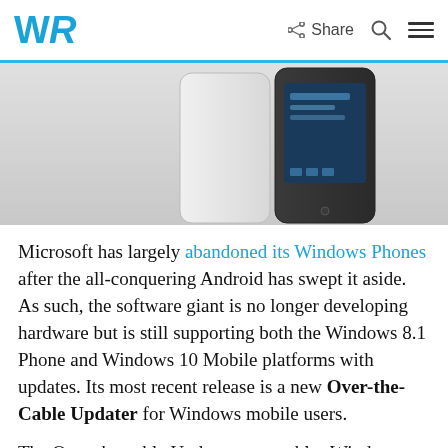WR | Share
[Figure (photo): Two Windows phones shown from the back, one white/silver and one dark gray/black, slightly angled toward each other. The dark phone shows a screen with calendar or notification content.]
Microsoft has largely abandoned its Windows Phones after the all-conquering Android has swept it aside. As such, the software giant is no longer developing hardware but is still supporting both the Windows 8.1 Phone and Windows 10 Mobile platforms with updates. Its most recent release is a new Over-the-Cable Updater for Windows mobile users.
The Over-the-cable Updater app enables Windows Enterprise users to update their devices faster. Previously, Windows Mobile users had to install